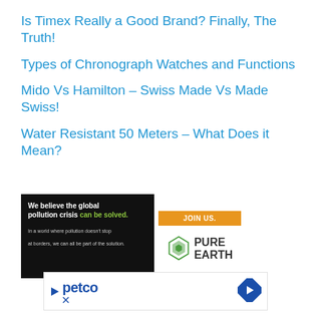Is Timex Really a Good Brand? Finally, The Truth!
Types of Chronograph Watches and Functions
Mido Vs Hamilton – Swiss Made Vs Made Swiss!
Water Resistant 50 Meters – What Does it Mean?
[Figure (infographic): Pure Earth advertisement banner: left side black background with text 'We believe the global pollution crisis can be solved.' and small text 'In a world where pollution doesn't stop at borders, we can all be part of the solution.' Right side white background with orange 'JOIN US.' button and Pure Earth logo with diamond icon.]
[Figure (infographic): Petco advertisement banner with Petco logo on left (blue play triangle, 'petco' text, close/x icons) and blue navigation arrow icon on the right.]